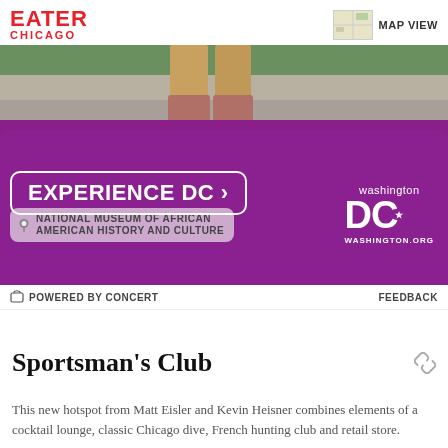EATER CHICAGO
[Figure (photo): Advertisement banner for Washington DC tourism featuring a purple background, person's legs in tan pants and boots on stone steps, Museum of African American History and Culture badge, 'EXPERIENCE DC >' button, and Washington DC logo with WASHINGTON.ORG]
POWERED BY CONCERT   FEEDBACK
Sportsman's Club
This new hotspot from Matt Eisler and Kevin Heisner combines elements of a cocktail lounge, classic Chicago dive, French hunting club and retail store.